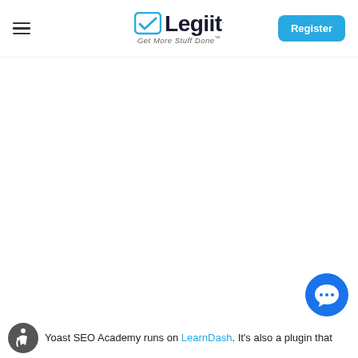Legiit — Get More Stuff Done — Register
[Figure (logo): Legiit logo with blue checkbox icon and tagline 'Get More Stuff Done']
[Figure (logo): Accessibility icon — circular gray badge with wheelchair symbol]
Yoast SEO Academy runs on LearnDash. It's also a plugin that